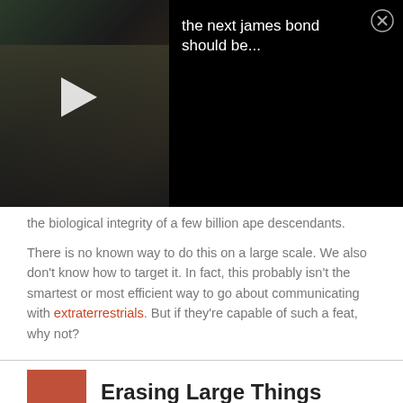[Figure (screenshot): Video overlay with dark thumbnail on left showing a play button triangle, and dark panel on right showing text 'the next james bond should be...' with a close (X) button]
the biological integrity of a few billion ape descendants.
There is no known way to do this on a large scale. We also don't know how to target it. In fact, this probably isn't the smartest or most efficient way to go about communicating with extraterrestrials. But if they're capable of such a feat, why not?
3 Erasing Large Things From Existence
[Figure (photo): Bottom portion of a space/galaxy image with soft pinkish and grey nebula tones]